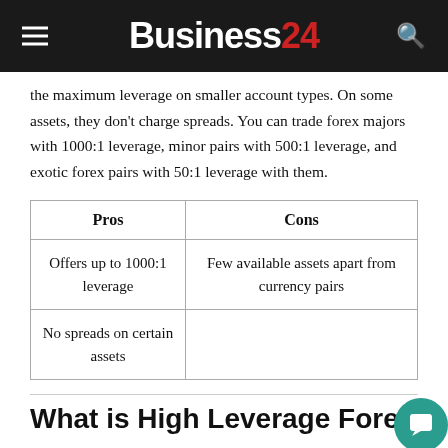Business24
the maximum leverage on smaller account types. On some assets, they don't charge spreads. You can trade forex majors with 1000:1 leverage, minor pairs with 500:1 leverage, and exotic forex pairs with 50:1 leverage with them.
| Pros | Cons |
| --- | --- |
| Offers up to 1000:1 leverage | Few available assets apart from currency pairs |
| No spreads on certain assets |  |
What is High Leverage Forex